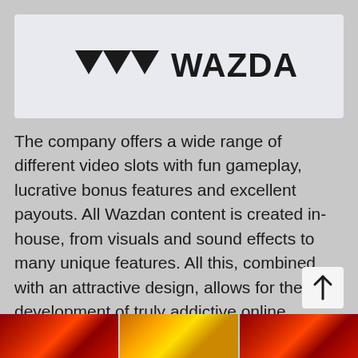[Figure (logo): Wazdan logo with three downward-pointing triangles followed by the text WAZDAN in bold black letters on a light blue-gray background]
The company offers a wide range of different video slots with fun gameplay, lucrative bonus features and excellent payouts. All Wazdan content is created in-house, from visuals and sound effects to many unique features. All this, combined with an attractive design, allows for the development of truly addictive online games.
[Figure (photo): Three game thumbnails partially visible at the bottom of the page showing slot game images with red and gold colors]